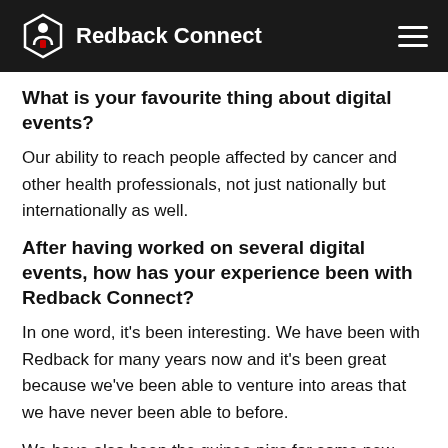Redback Connect
What is your favourite thing about digital events?
Our ability to reach people affected by cancer and other health professionals, not just nationally but internationally as well.
After having worked on several digital events, how has your experience been with Redback Connect?
In one word, it’s been interesting. We have been with Redback for many years now and it’s been great because we’ve been able to venture into areas that we have never been able to before.
We have also been the guinea pigs for some new initiatives which has always been good. We have learned a lot along the way.
One of the key highlights was the Chinese Mandarin